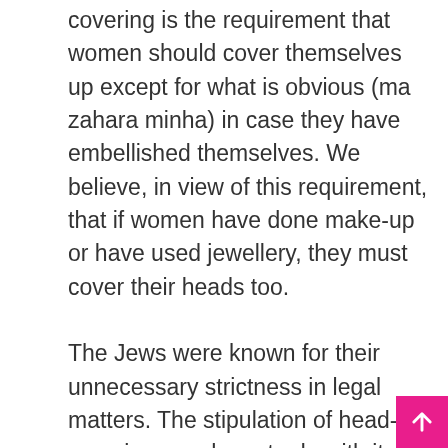covering is the requirement that women should cover themselves up except for what is obvious (ma zahara minha) in case they have embellished themselves. We believe, in view of this requirement, that if women have done make-up or have used jewellery, they must cover their heads too. The Jews were known for their unnecessary strictness in legal matters. The stipulation of head-covering may have to do with it. The prophet, alaihissalaam, required Muslim ladies to cover their heads while praying; the Quran required them to cover their heads when there was a possibility of them getting teased and tortured (33:59). Umar, May Allah be pleased with, it is said, required slave-girls not to cover their